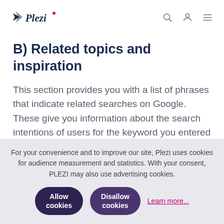Plezi
B) Related topics and inspiration
This section provides you with a list of phrases that indicate related searches on Google. These give you information about the search intentions of users for the keyword you entered earlier and help you clarify the angle of your blog
For your convenience and to improve our site, Plezi uses cookies for audience measurement and statistics. With your consent, PLEZI may also use advertising cookies.